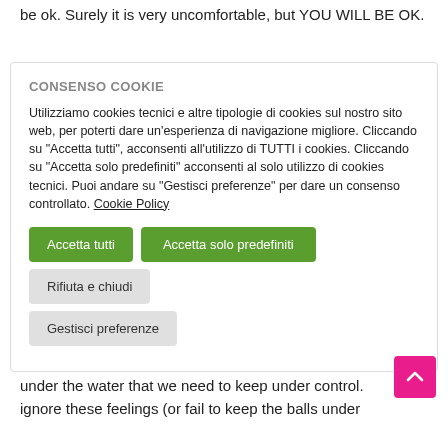be ok. Surely it is very uncomfortable, but YOU WILL BE OK.
[Figure (screenshot): Cookie consent dialog box with title 'CONSENSO COOKIE', body text in Italian about cookies, two green buttons ('Accetta tutti' and 'Accetta solo predefiniti'), one gray button ('Rifiuta e chiudi'), and one gray button ('Gestisci preferenze')]
under the water that we need to keep under control. ignore these feelings (or fail to keep the balls under